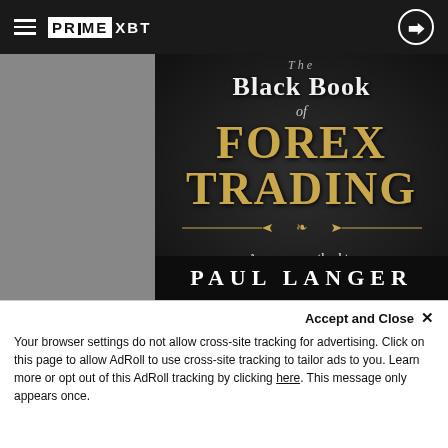≡ PRIME XBT  [login icon]
[Figure (illustration): Book cover for 'The Black Book of Forex Trading' by Paul Langer. Dark textured background with gold and white typography. Title reads 'The Black Book of FOREX TRADING'. Subtitle: 'A proven method to become a profitable trader in four months and reach your financial freedom by doing it'. Author name 'PAUL LANGER' at the bottom.]
Accept and Close ✕
Your browser settings do not allow cross-site tracking for advertising. Click on this page to allow AdRoll to use cross-site tracking to tailor ads to you. Learn more or opt out of this AdRoll tracking by clicking here. This message only appears once.